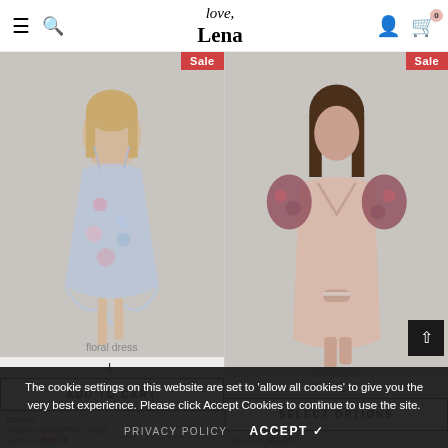love, Lena — navigation header with hamburger menu, search, account, and cart (0 items)
[Figure (photo): Model wearing a floral print cowl-neck spaghetti strap high-low dress in lavender/blue tones against a grey background. Sale badge top right. Size L shown.]
ADD TO CART
Baliano
Aviation Cowl Print Dress
$105.00  $99.00
[Figure (photo): Model wearing a blush pink bodycon dress with floral ruffle sleeves against a grey background. Sale badge top right. Sizes 8 and 16 shown.]
SELECT OPTIONS
$139.00  $89.00
The cookie settings on this website are set to 'allow all cookies' to give you the very best experience. Please click Accept Cookies to continue to use the site.
PRIVACY POLICY    ACCEPT ✓